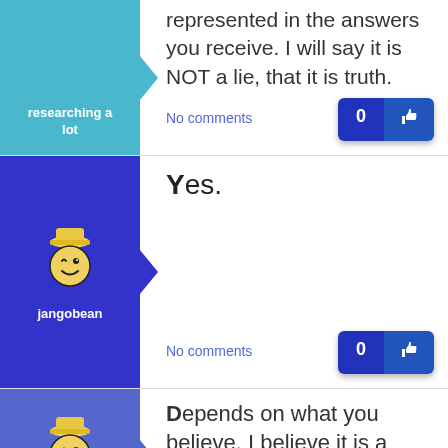researching a lot
represented in the answers you receive. I will say it is NOT a lie, that it is truth.
No comments
[Figure (illustration): User avatar icon (winking smiley face with hat) for user jangobean on blue background with arrow notch]
jangobean
Yes.
No comments
[Figure (illustration): User avatar icon (winking smiley face with hat) for user shrinkess on light blue background with arrow notch]
shrinkess
Depends on what you believe. I believe it is a metaphor for living. Lots of lessons in there. I don't for